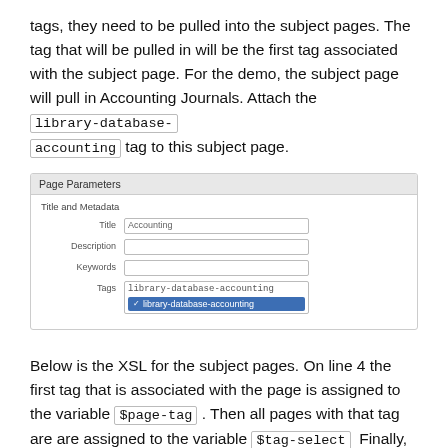tags, they need to be pulled into the subject pages. The tag that will be pulled in will be the first tag associated with the subject page. For the demo, the subject page will pull in Accounting Journals. Attach the library-database-accounting tag to this subject page.
[Figure (screenshot): Screenshot of a CMS Page Parameters panel showing fields: Title (value: Accounting), Description (empty), Keywords (empty), Tags (showing library-database-accounting typed in a text box with a dropdown suggestion 'library-database-accounting' highlighted in blue).]
Below is the XSL for the subject pages. On line 4 the first tag that is associated with the page is assigned to the variable $page-tag . Then all pages with that tag are are assigned to the variable $tag-select  Finally, the data files are looped and the path of each data file is passed to